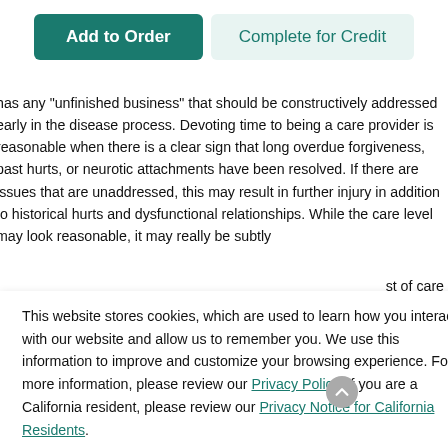[Figure (screenshot): Two buttons at top: 'Add to Order' (teal filled) and 'Complete for Credit' (light teal outline)]
has any "unfinished business" that should be constructively addressed early in the disease process. Devoting time to being a care provider is reasonable when there is a clear sign that long overdue forgiveness, past hurts, or neurotic attachments have been resolved. If there are issues that are unaddressed, this may result in further injury in addition to historical hurts and dysfunctional relationships. While the care level may look reasonable, it may really be subtly
st of care
This website stores cookies, which are used to learn how you interact with our website and allow us to remember you. We use this information to improve and customize your browsing experience. For more information, please review our Privacy Policy. If you are a California resident, please review our Privacy Notice for California Residents.
of 5% to
It presents
ccurately
nd his or
[Figure (other): Green Accept button in cookie consent dialog]
her family will be unable to prepare for the disease's progression.